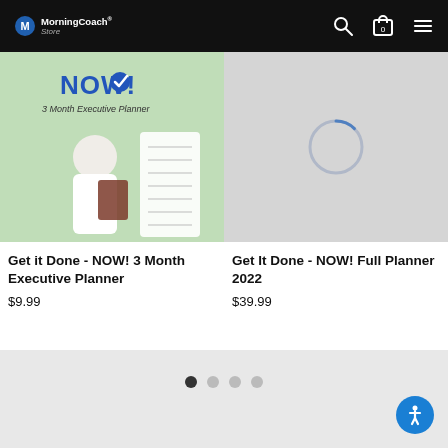MorningCoach Store
[Figure (screenshot): Product image for Get it Done - NOW! 3 Month Executive Planner showing a man writing in a planner with green background and NOW! text]
Get it Done - NOW! 3 Month Executive Planner
$9.99
[Figure (screenshot): Loading placeholder image (gray background with spinning loader circle) for Get It Done - NOW! Full Planner 2022]
Get It Done - NOW! Full Planner 2022
$39.99